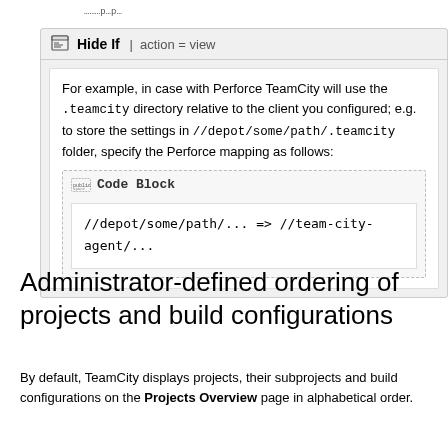...........p...p...
For example, in case with Perforce TeamCity will use the .teamcity directory relative to the client you configured; e.g. to store the settings in //depot/some/path/.teamcity folder, specify the Perforce mapping as follows:
Code Block
//depot/some/path/... => //team-city-agent/...
Administrator-defined ordering of projects and build configurations
By default, TeamCity displays projects, their subprojects and build configurations on the Projects Overview page in alphabetical order.